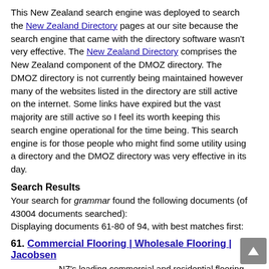This New Zealand search engine was deployed to search the New Zealand Directory pages at our site because the search engine that came with the directory software wasn't very effective. The New Zealand Directory comprises the New Zealand component of the DMOZ directory. The DMOZ directory is not currently being maintained however many of the websites listed in the directory are still active on the internet. Some links have expired but the vast majority are still active so I feel its worth keeping this search engine operational for the time being. This search engine is for those people who might find some utility using a directory and the DMOZ directory was very effective in its day.
Search Results
Your search for grammar found the following documents (of 43004 documents searched):
Displaying documents 61-80 of 94, with best matches first:
61. Commercial Flooring | Wholesale Flooring | Jacobsen
NZ's leading commercial and residential flooring specialists. Making design concepts a reality through our expertise and the world's best brands. Talk to us
URL: http://jacobsens.co.nz/ - 66KB - 07 Jul 2014